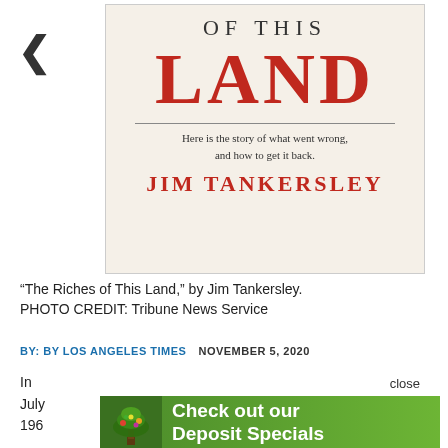[Figure (illustration): Book cover of 'The Riches of This Land' by Jim Tankersley. Cream/beige background. Text 'OF THIS' in spaced serif letters, large bold red 'LAND', horizontal rule, subtitle 'Here is the story of what went wrong, and how to get it back.' Author name 'JIM TANKERSLEY' in bold red spaced capitals.]
“The Riches of This Land,” by Jim Tankersley. PHOTO CREDIT: Tribune News Service
BY: BY LOS ANGELES TIMES   NOVEMBER 5, 2020
In July 196
[Figure (screenshot): Advertisement banner: green background with tree logo on left and text 'Check out our Deposit Specials' in white bold letters. 'close' label appears to the right above the ad.]